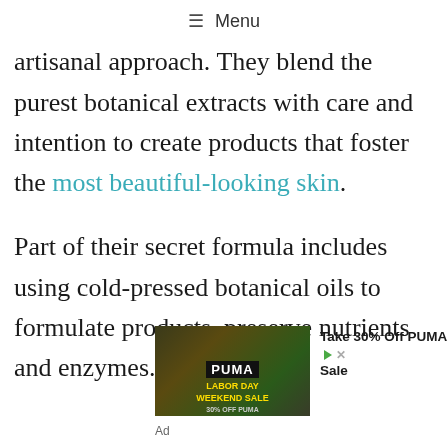≡ Menu
artisanal approach. They blend the purest botanical extracts with care and intention to create products that foster the most beautiful-looking skin.
Part of their secret formula includes using cold-pressed botanical oils to formulate products, preserve nutrients and enzymes.
[Figure (photo): Advertisement banner for PUMA Labor Day Weekend Sale showing 30% off, with two athletes in outdoor setting]
Ad